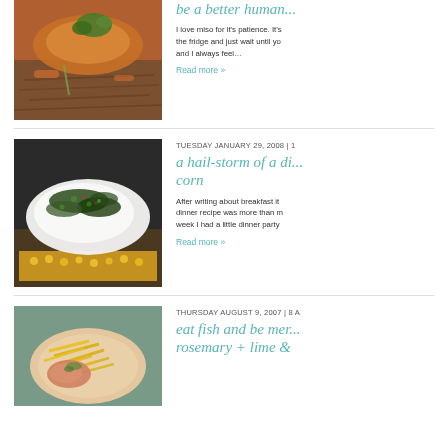[Figure (photo): Food photo: miso fish with soba noodles and cilantro garnish]
be a better human...
I love miso for it's patience. It's the fridge and just wait until yo and I always feel…
Read more »
[Figure (photo): Food photo: baked white fish fillet with herb topping on corn]
TUESDAY JANUARY 29, 2008 | 1
a hail-storm of a di... corn
After writing about breakfast it dinner recipe was more than m week I had a little dinner party
Read more »
[Figure (photo): Food photo: salmon with yellow bean sprouts on a plate]
THURSDAY AUGUST 9, 2007 | 8 A
eat fish and be mer... rosemary + lime &